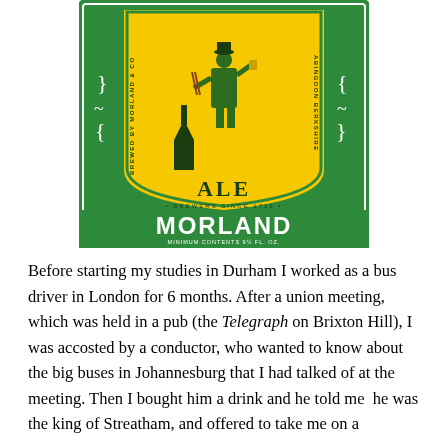[Figure (illustration): Morland Ale beer label. Green label with a figure of a man in colonial/18th century clothing carrying items, set against a yellow arch background. Text reads 'ALE', 'BREWERS SINCE 1711', 'MORLAND', 'BREWED BY MORLAND & CO', 'ABINGDON BERKSHIRE', 'MINIMUM CONTENTS 9½ FL. OZ.']
Before starting my studies in Durham I worked as a bus driver in London for 6 months. After a union meeting, which was held in a pub (the Telegraph on Brixton Hill), I was accosted by a conductor, who wanted to know about the big buses in Johannesburg that I had talked of at the meeting. Then I bought him a drink and he told me  he was the king of Streatham, and offered to take me on a